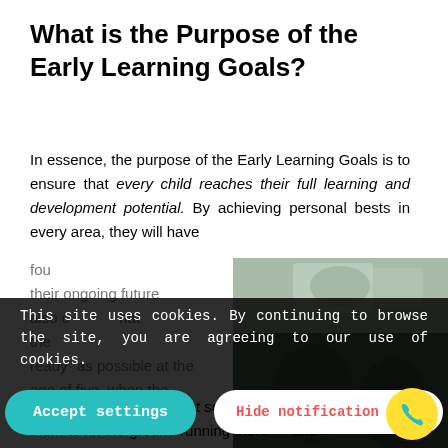What is the Purpose of the Early Learning Goals?
In essence, the purpose of the Early Learning Goals is to ensure that every child reaches their full learning and development potential. By achieving personal bests in every area, they will have found the foundations to be the best they can be in their ongoing future life. This will also create the probability that the children will be as "school ready" as possible at the age of five, when they leave early years provision and transition to Year 1 at school. This will enable them to hit the ground running there — and accomplish a flying start. They will also take with
[Figure (photo): Photo of children, outdoor setting]
This site uses cookies. By continuing to browse the site, you are agreeing to our use of cookies.
Accept settings
Hide notification only
Settings